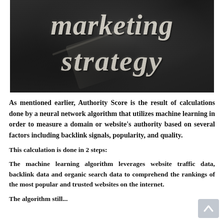[Figure (photo): Chalkboard with chalk-written text reading 'marketing strategy' in large bold italic white/chalk letters on a dark blackboard background.]
As mentioned earlier, Authority Score is the result of calculations done by a neural network algorithm that utilizes machine learning in order to measure a domain or website's authority based on several factors including backlink signals, popularity, and quality.
This calculation is done in 2 steps:
The machine learning algorithm leverages website traffic data, backlink data and organic search data to comprehend the rankings of the most popular and trusted websites on the internet.
The algorithm still...